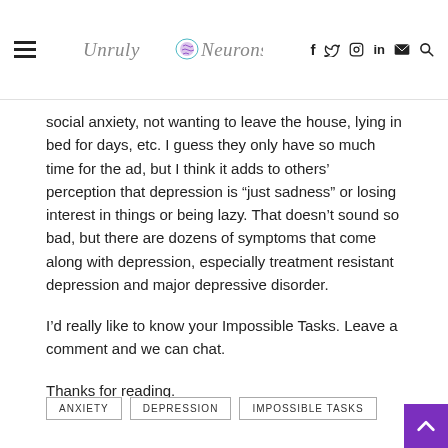Unruly Neurons — navigation bar with hamburger menu, logo, and social icons (f, twitter, instagram, in, mail, search)
social anxiety, not wanting to leave the house, lying in bed for days, etc. I guess they only have so much time for the ad, but I think it adds to others' perception that depression is “just sadness” or losing interest in things or being lazy. That doesn’t sound so bad, but there are dozens of symptoms that come along with depression, especially treatment resistant depression and major depressive disorder.
I’d really like to know your Impossible Tasks. Leave a comment and we can chat.
Thanks for reading.
ANXIETY
DEPRESSION
IMPOSSIBLE TASKS